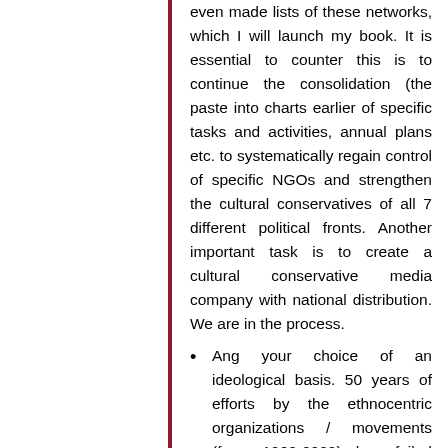even made lists of these networks, which I will launch my book. It is essential to counter this is to continue the consolidation (the paste into charts earlier of specific tasks and activities, annual plans etc. to systematically regain control of specific NGOs and strengthen the cultural conservatives of all 7 different political fronts. Another important task is to create a cultural conservative media company with national distribution. We are in the process.
Ang your choice of an ideological basis. 50 years of efforts by the ethnocentric organizations / movements (from 1960-2009) has failed completely. We know this and further focus, illumination of these strategies will only be counter-productive and potentially very damaging to the